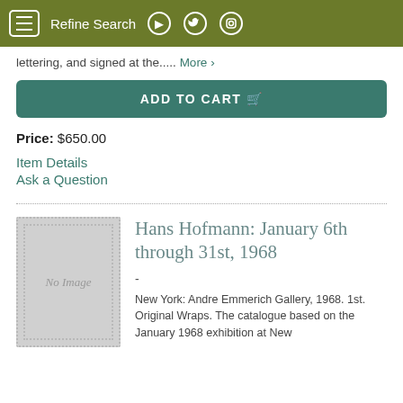Refine Search
lettering, and signed at the..... More >
ADD TO CART
Price: $650.00
Item Details
Ask a Question
[Figure (other): No Image placeholder box with dotted border]
Hans Hofmann: January 6th through 31st, 1968
-
New York: Andre Emmerich Gallery, 1968. 1st. Original Wraps. The catalogue based on the January 1968 exhibition at New